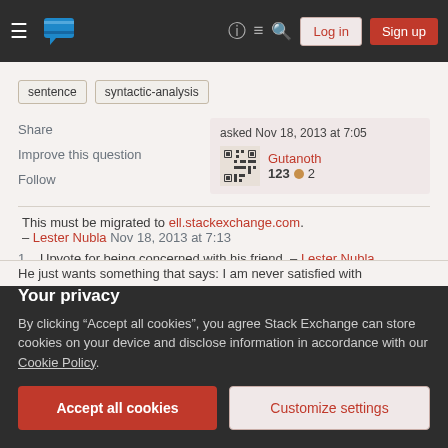Stack Exchange navigation bar with Log in and Sign up buttons
sentence
syntactic-analysis
Share
Improve this question
Follow
asked Nov 18, 2013 at 7:05 | Gutanoth | 123 ●2
This must be migrated to ell.stackexchange.com. – Lester Nubla Nov 18, 2013 at 7:13
1 Upvote for being concerned with his friend. – Lester Nubla
Your privacy
By clicking "Accept all cookies", you agree Stack Exchange can store cookies on your device and disclose information in accordance with our Cookie Policy.
Accept all cookies
Customize settings
He just wants something that says: I am never satisfied with